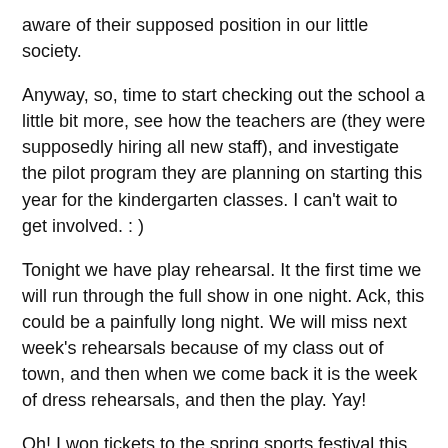aware of their supposed position in our little society.
Anyway, so, time to start checking out the school a little bit more, see how the teachers are (they were supposedly hiring all new staff), and investigate the pilot program they are planning on starting this year for the kindergarten classes. I can't wait to get involved. : )
Tonight we have play rehearsal. It the first time we will run through the full show in one night. Ack, this could be a painfully long night. We will miss next week's rehearsals because of my class out of town, and then when we come back it is the week of dress rehearsals, and then the play. Yay!
Oh! I won tickets to the spring sports festival this weekend. It actually starts today with a women's tennis match. There is also baseball, softball, football, and other things. The tennis match is at 3:30 though, so I have to decide if I can leave early and go get Jack to go to it. Hmm. Better get some work done then.